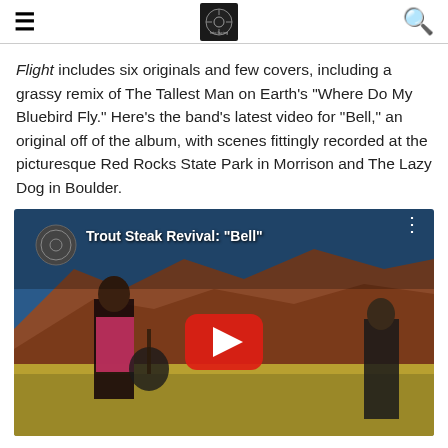Navigation header with hamburger menu, logo, and search icon
Flight includes six originals and few covers, including a grassy remix of The Tallest Man on Earth's "Where Do My Bluebird Fly." Here's the band's latest video for "Bell," an original off of the album, with scenes fittingly recorded at the picturesque Red Rocks State Park in Morrison and The Lazy Dog in Boulder.
[Figure (screenshot): YouTube video embed showing Trout Steak Revival: "Bell" - musicians playing instruments at Red Rocks with red play button overlay]